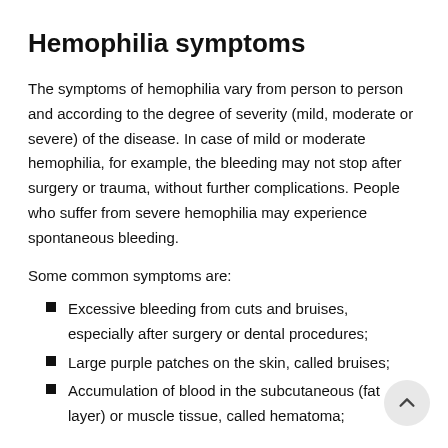Hemophilia symptoms
The symptoms of hemophilia vary from person to person and according to the degree of severity (mild, moderate or severe) of the disease. In case of mild or moderate hemophilia, for example, the bleeding may not stop after surgery or trauma, without further complications. People who suffer from severe hemophilia may experience spontaneous bleeding.
Some common symptoms are:
Excessive bleeding from cuts and bruises, especially after surgery or dental procedures;
Large purple patches on the skin, called bruises;
Accumulation of blood in the subcutaneous (fat layer) or muscle tissue, called hematoma;